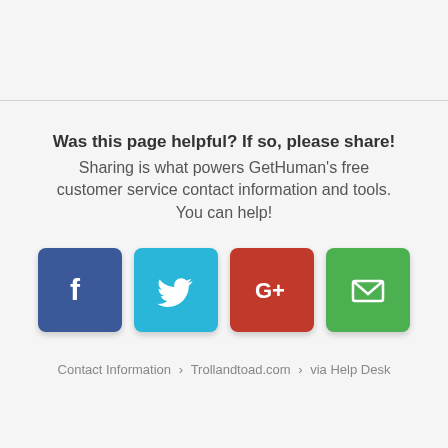Was this page helpful? If so, please share! Sharing is what powers GetHuman's free customer service contact information and tools. You can help!
[Figure (infographic): Four social sharing buttons: Facebook (blue), Twitter (cyan), Google+ (red), Email (green), each as rounded square icons with white logos]
Contact Information › Trollandtoad.com › via Help Desk